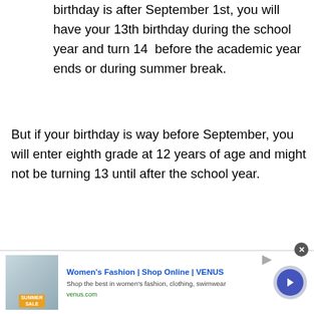birthday is after September 1st, you will have your 13th birthday during the school year and turn 14  before the academic year ends or during summer break.
But if your birthday is way before September, you will enter eighth grade at 12 years of age and might not be turning 13 until after the school year.
A child who has to repeat a school year and falls behind might be 14 years of age during eighth grade.
[Figure (other): Advertisement banner for Women's Fashion | Shop Online | VENUS with thumbnail image showing a summer sale, text 'Shop the best in women's fashion, clothing, swimwear', venus.com link, and a circular arrow button.]